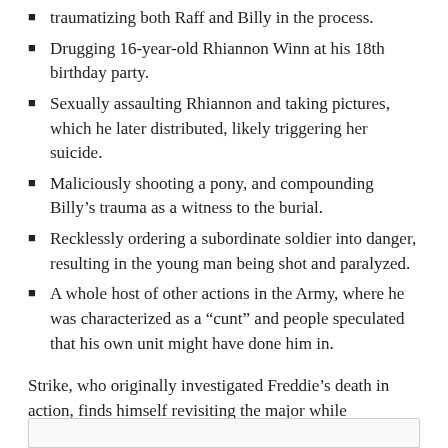traumatizing both Raff and Billy in the process.
Drugging 16-year-old Rhiannon Winn at his 18th birthday party.
Sexually assaulting Rhiannon and taking pictures, which he later distributed, likely triggering her suicide.
Maliciously shooting a pony, and compounding Billy's trauma as a witness to the burial.
Recklessly ordering a subordinate soldier into danger, resulting in the young man being shot and paralyzed.
A whole host of other actions in the Army, where he was characterized as a “cunt” and people speculated that his own unit might have done him in.
Strike, who originally investigated Freddie’s death in action, finds himself revisiting the major while investigating in Lethal White.